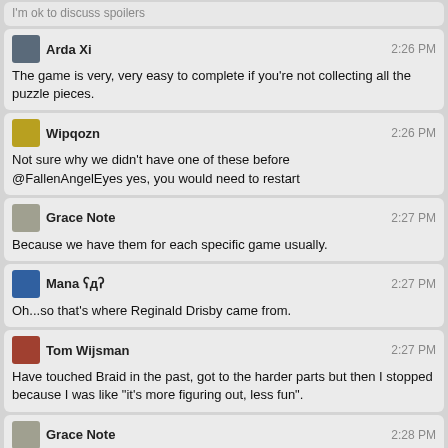I'm ok to discuss spoilers
Arda Xi 2:26 PM
The game is very, very easy to complete if you're not collecting all the puzzle pieces.
Wipqozn 2:26 PM
Not sure why we didn't have one of these before
@FallenAngelEyes yes, you would need to restart
Grace Note 2:27 PM
Because we have them for each specific game usually.
Mana ʕдʔ 2:27 PM
Oh...so that's where Reginald Drisby came from.
Tom Wijsman 2:27 PM
Have touched Braid in the past, got to the harder parts but then I stopped because I was like "it's more figuring out, less fun".
Grace Note 2:28 PM
@Manaʕдʔ Chantelise came before Recettear.
Arda Xi 2:28 PM
@TomWijsman For me, figuring out is the fun. Much more so than just shoot to kill.
Wipqozn 2:29 PM
@ArdaXi Agreed.